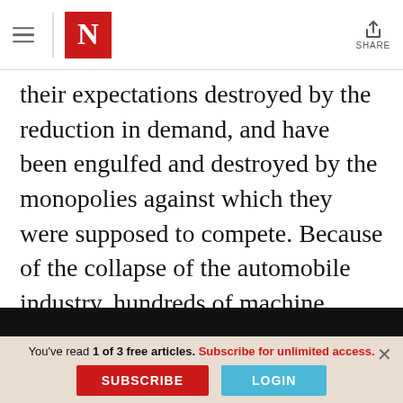The Nation — navigation header with hamburger menu, N logo, and share button
their expectations destroyed by the reduction in demand, and have been engulfed and destroyed by the monopolies against which they were supposed to compete. Because of the collapse of the automobile industry, hundreds of machine shops and small industries which acted as subcontractors have
You've read 1 of 3 free articles. Subscribe for unlimited access.
SUBSCRIBE
LOGIN
Click here for more information.